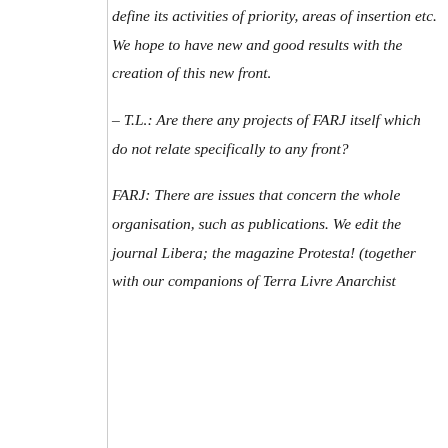define its activities of priority, areas of insertion etc. We hope to have new and good results with the creation of this new front.

– T.L.: Are there any projects of FARJ itself which do not relate specifically to any front?

FARJ: There are issues that concern the whole organisation, such as publications. We edit the journal Libera; the magazine Protesta! (together with our companions of Terra Livre Anarchist